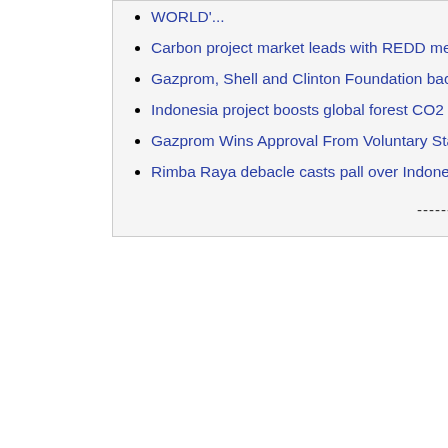WORLD'...
Carbon project market leads with REDD methodology
Gazprom, Shell and Clinton Foundation back rainforest carb...
Indonesia project boosts global forest CO2 market
Gazprom Wins Approval From Voluntary Standards Group for F...
Rimba Raya debacle casts pall over Indonesian REDD
------------------
Shell Canada an...
InfiniteEARTH co... to author the met... submitted to the V...
The battle for app... but with final app... independent aud... and Bureau Verit... methodology ear... international RED... the VCS, one of t... leading third-part...
This is only the s... make it through t... process for nev... approval of an im... methodology dev...
“Now, between th... Rainforest Allianc... organisations tha... a who’s who of e... method of accoun... says Keith Martini... Gazprom – an ea...